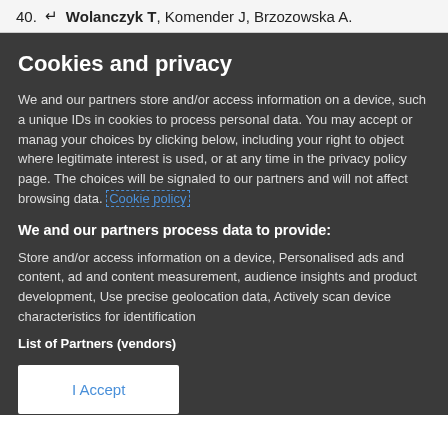40.   ↵   Wolanczyk T, Komender J, Brzozowska A.
Cookies and privacy
We and our partners store and/or access information on a device, such a unique IDs in cookies to process personal data. You may accept or manage your choices by clicking below, including your right to object where legitimate interest is used, or at any time in the privacy policy page. These choices will be signaled to our partners and will not affect browsing data. Cookie policy
We and our partners process data to provide:
Store and/or access information on a device, Personalised ads and content, ad and content measurement, audience insights and product development, Use precise geolocation data, Actively scan device characteristics for identification
List of Partners (vendors)
I Accept